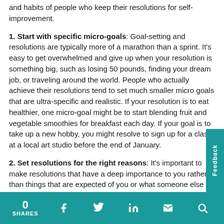and habits of people who keep their resolutions for self-improvement.
1. Start with specific micro-goals: Goal-setting and resolutions are typically more of a marathon than a sprint. It's easy to get overwhelmed and give up when your resolution is something big, such as losing 50 pounds, finding your dream job, or traveling around the world. People who actually achieve their resolutions tend to set much smaller micro goals that are ultra-specific and realistic. If your resolution is to eat healthier, one micro-goal might be to start blending fruit and vegetable smoothies for breakfast each day. If your goal is to take up a new hobby, you might resolve to sign up for a class at a local art studio before the end of January.
2. Set resolutions for the right reasons: It's important to make resolutions that have a deep importance to you rather than things that are expected of you or what someone else wants. Before the end of the year, put some serious thought into what improvements or
0 SHARES | Facebook | Twitter | LinkedIn | Email | Search | Feedback